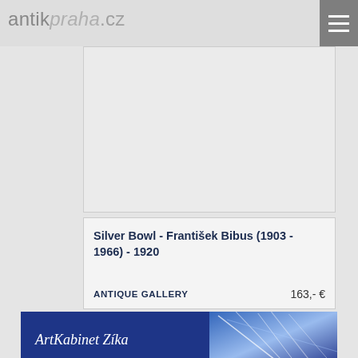antikpraha.cz
[Figure (photo): Light grey empty product image placeholder box]
Silver Bowl - František Bibus (1903 - 1966) - 1920
ANTIQUE GALLERY    163,- €
[Figure (photo): ArtKabinet Zíka banner with dark blue background and abstract blue/white art image on right]
[Figure (photo): Partial bottom product photo showing a gold/brass bowl on grey background]